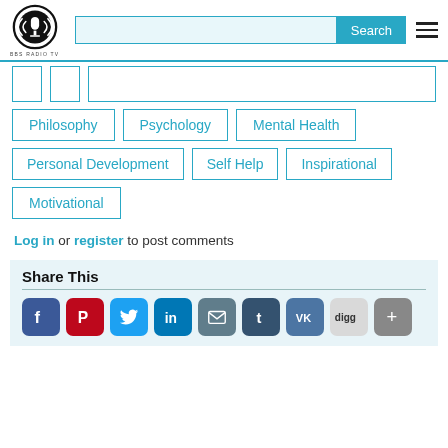BBS RADIO TV
Philosophy
Psychology
Mental Health
Personal Development
Self Help
Inspirational
Motivational
Log in or register to post comments
Share This